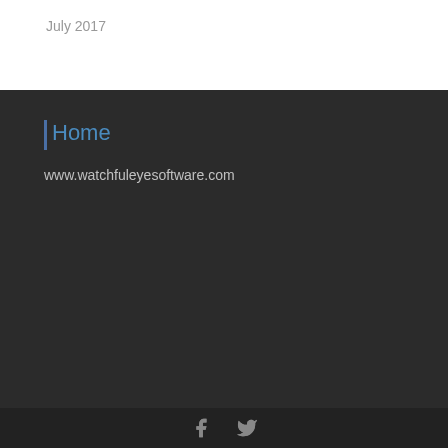July 2017
Home
www.watchfuleyesoftware.com
Social media icons: Facebook, Twitter